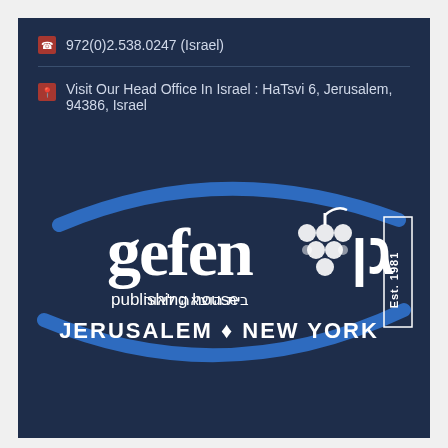972(0)2.538.0247 (Israel)
Visit Our Head Office In Israel : HaTsvi 6, Jerusalem, 94386, Israel
[Figure (logo): Gefen Publishing House logo with Hebrew text, grape cluster, blue swoosh, and text 'JERUSALEM • NEW YORK Est. 1981']